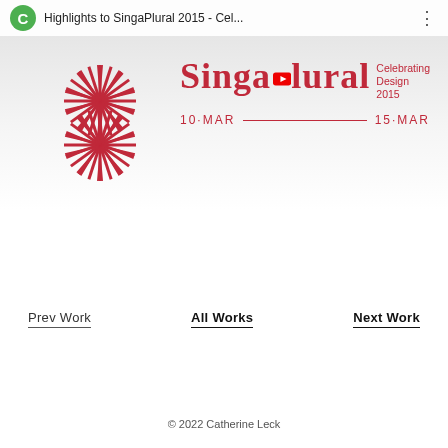[Figure (screenshot): YouTube video thumbnail showing 'Highlights to SingaPlural 2015 - Cel...' with a green C icon, three-dot menu, SingaPlural logo (red radiating fan/sunburst S shape), SingaPlural Celebrating Design 2015 text in red, YouTube play button overlay, and dates 10·MAR — 15·MAR]
Prev Work
All Works
Next Work
© 2022 Catherine Leck